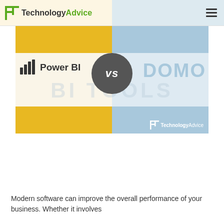TechnologyAdvice
[Figure (infographic): Power BI vs DOMO comparison banner with yellow and light blue quadrant background colors, Power BI logo and wordmark on the left, a dark grey VS circle in the center, and DOMO wordmark in light blue on the right. TechnologyAdvice logo in the bottom-right corner.]
Modern software can improve the overall performance of your business. Whether it involves